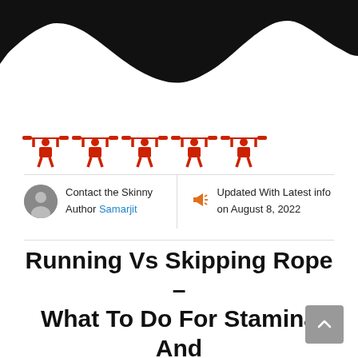[Figure (illustration): Black and white wave/blob shape decorative header background — black organic blob on white background]
[Figure (infographic): Five red weightlifter/barbell icons in a row representing a 5-star rating]
Contact the Skinny Author Samarjit
Updated With Latest info on August 8, 2022
Running Vs Skipping Rope – What To Do For Stamina And Weight Loss